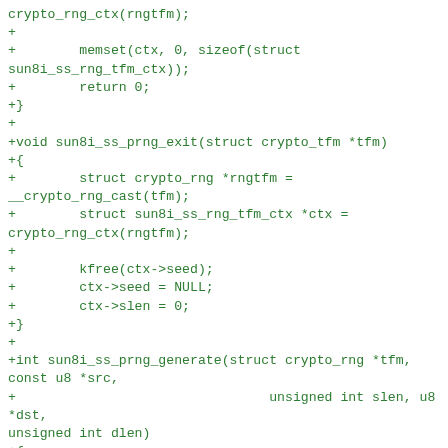crypto_rng_ctx(rngtfm);
+
+        memset(ctx, 0, sizeof(struct sun8i_ss_rng_tfm_ctx));
+        return 0;
+}
+
+void sun8i_ss_prng_exit(struct crypto_tfm *tfm)
+{
+        struct crypto_rng *rngtfm =
__crypto_rng_cast(tfm);
+        struct sun8i_ss_rng_tfm_ctx *ctx =
crypto_rng_ctx(rngtfm);
+
+        kfree(ctx->seed);
+        ctx->seed = NULL;
+        ctx->slen = 0;
+}
+
+int sun8i_ss_prng_generate(struct crypto_rng *tfm,
const u8 *src,
+                                unsigned int slen, u8 *dst,
unsigned int dlen)
+{
+        struct sun8i_ss_rng_tfm_ctx *ctx =
crypto_rng_ctx(tfm);
+        struct rng_alg *alg = crypto_rng_alg(tfm);
+        struct sun8i_ss_alg_template *algt;
+        struct sun8i_ss_dev *ss;
+        dma_addr_t dma_iv, dma_dst;